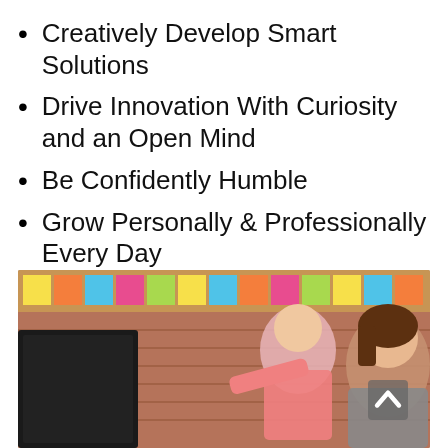Creatively Develop Smart Solutions
Drive Innovation With Curiosity and an Open Mind
Be Confidently Humble
Grow Personally & Professionally Every Day
[Figure (photo): Two office workers, a man in a pink shirt and a woman with brown hair, looking at a computer monitor together in an office with colorful sticky notes on a brick wall in the background. Social media sharing icons (Facebook, Twitter, Email, LinkedIn, WhatsApp, Messenger, Add) are overlaid on the bottom portion of the image.]